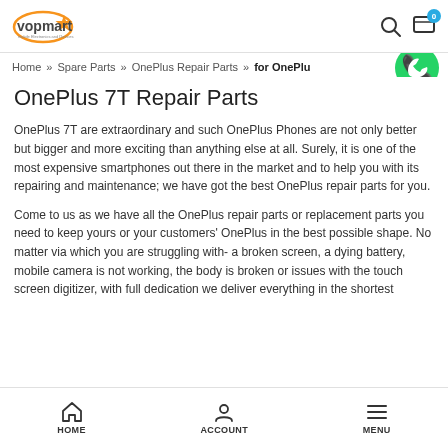vopmart logo, search icon, cart icon with badge 0
Home » Spare Parts » OnePlus Repair Parts » for OnePlu…
OnePlus 7T Repair Parts
OnePlus 7T are extraordinary and such OnePlus Phones are not only better but bigger and more exciting than anything else at all. Surely, it is one of the most expensive smartphones out there in the market and to help you with its repairing and maintenance; we have got the best OnePlus repair parts for you.
Come to us as we have all the OnePlus repair parts or replacement parts you need to keep yours or your customers' OnePlus in the best possible shape. No matter via which you are struggling with- a broken screen, a dying battery, mobile camera is not working, the body is broken or issues with the touch screen digitizer, with full dedication we deliver everything in the shortest
HOME   ACCOUNT   MENU